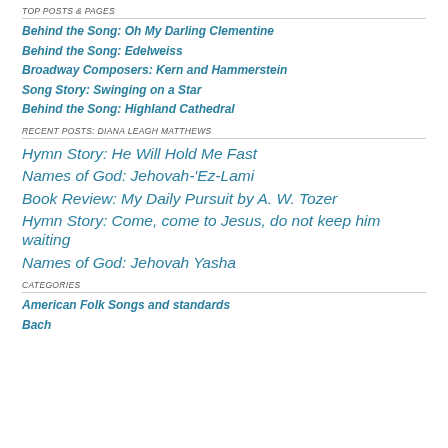TOP POSTS & PAGES
Behind the Song: Oh My Darling Clementine
Behind the Song: Edelweiss
Broadway Composers: Kern and Hammerstein
Song Story: Swinging on a Star
Behind the Song: Highland Cathedral
RECENT POSTS: DIANA LEAGH MATTHEWS
Hymn Story: He Will Hold Me Fast
Names of God: Jehovah-'Ez-Lami
Book Review: My Daily Pursuit by A. W. Tozer
Hymn Story: Come, come to Jesus, do not keep him waiting
Names of God: Jehovah Yasha
CATEGORIES
American Folk Songs and standards
Bach